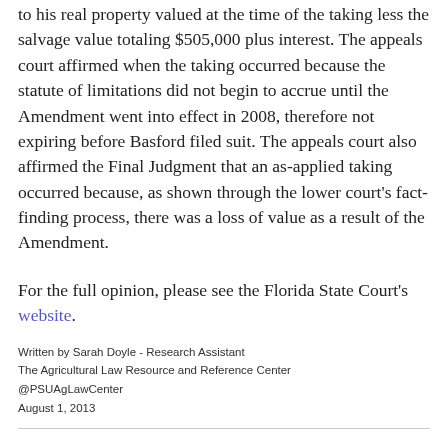to his real property valued at the time of the taking less the salvage value totaling $505,000 plus interest. The appeals court affirmed when the taking occurred because the statute of limitations did not begin to accrue until the Amendment went into effect in 2008, therefore not expiring before Basford filed suit. The appeals court also affirmed the Final Judgment that an as-applied taking occurred because, as shown through the lower court's fact-finding process, there was a loss of value as a result of the Amendment.
For the full opinion, please see the Florida State Court's website.
Written by Sarah Doyle - Research Assistant
The Agricultural Law Resource and Reference Center
@PSUAgLawCenter
August 1, 2013
Center for Agricultural and Shale Law at 3:58 PM
Share
No comments: